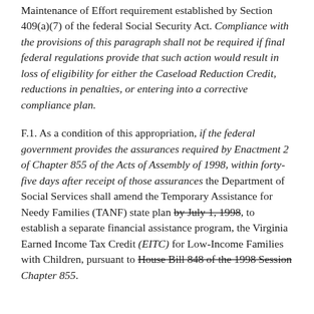Maintenance of Effort requirement established by Section 409(a)(7) of the federal Social Security Act. Compliance with the provisions of this paragraph shall not be required if final federal regulations provide that such action would result in loss of eligibility for either the Caseload Reduction Credit, reductions in penalties, or entering into a corrective compliance plan.
F.1. As a condition of this appropriation, if the federal government provides the assurances required by Enactment 2 of Chapter 855 of the Acts of Assembly of 1998, within forty-five days after receipt of those assurances the Department of Social Services shall amend the Temporary Assistance for Needy Families (TANF) state plan [strikethrough: by July 1, 1998], to establish a separate financial assistance program, the Virginia Earned Income Tax Credit (EITC) for Low-Income Families with Children, pursuant to [strikethrough: House Bill 848 of the 1998 Session] Chapter 855.